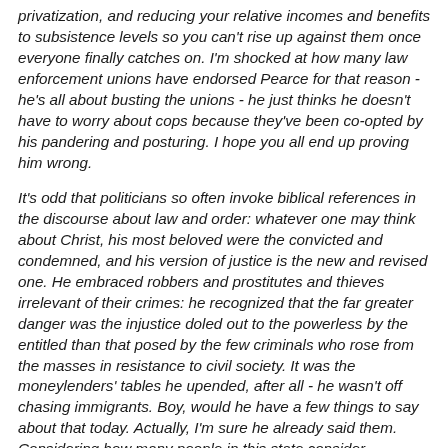privatization, and reducing your relative incomes and benefits to subsistence levels so you can't rise up against them once everyone finally catches on. I'm shocked at how many law enforcement unions have endorsed Pearce for that reason - he's all about busting the unions - he just thinks he doesn't have to worry about cops because they've been co-opted by his pandering and posturing. I hope you all end up proving him wrong.
It's odd that politicians so often invoke biblical references in the discourse about law and order: whatever one may think about Christ, his most beloved were the convicted and condemned, and his version of justice is the new and revised one. He embraced robbers and prostitutes and thieves irrelevant of their crimes: he recognized that the far greater danger was the injustice doled out to the powerless by the entitled than that posed by the few criminals who rose from the masses in resistance to civil society. It was the moneylenders' tables he upended, after all - he wasn't off chasing immigrants. Boy, would he have a few things to say about that today. Actually, I'm sure he already said them. Considering how many people in this state consider